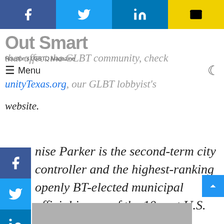[Figure (other): Social share bar with Facebook, Twitter, LinkedIn, and email buttons]
Out Smart — Houston's LGBTQ Magazine
that affect the GLBT community, check
unityTexas.org, our GLBT lobbyist's
website.
nise Parker is the second-term city controller and the highest-ranking openly BT-elected municipal official in any of the 10 gest U.S. cities. Her website is www.houstoncontroller.org. Parker's television program, Money Matters, airs Monday on the Municipal Channel (time Warner Cable) at 2 & 8 a.m. and 2 & 8 p.m.
[Figure (photo): Partial photo visible at bottom of page]